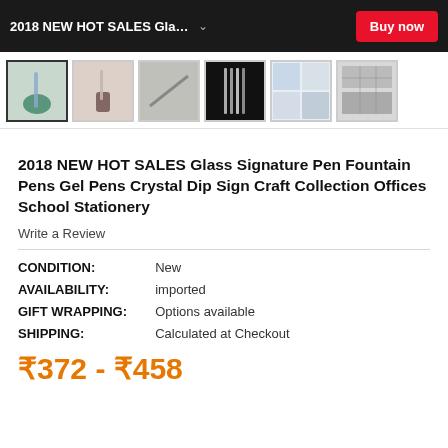2018 NEW HOT SALES Gla...  Buy now
[Figure (photo): Six product thumbnail images of glass signature pens and accessories]
2018 NEW HOT SALES Glass Signature Pen Fountain Pens Gel Pens Crystal Dip Sign Craft Collection Offices School Stationery
Write a Review
CONDITION: New
AVAILABILITY: imported
GIFT WRAPPING: Options available
SHIPPING: Calculated at Checkout
₹372 - ₹458